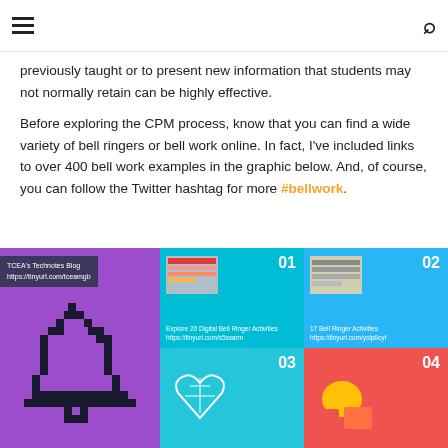≡  🔍
previously taught or to present new information that students may not normally retain can be highly effective.
Before exploring the CPM process, know that you can find a wide variety of bell ringers or bell work online. In fact, I've included links to over 400 bell work examples in the graphic below. And, of course, you can follow the Twitter hashtag for more #bellwork.
[Figure (infographic): Infographic collage showing TCEA's Technotes Blog bell work resources. Left panel: purple background with pixelated bell icon and label 'TCEA's Technotes Blog https://tinyurl.com/tceamgb'. Top-center cell (01, teal): thumbnail of digital bell ringer activity with text 'Explore 20 Digital Bell Ringer Activities https://tinyurl.com/s5ssarm'. Top-right cell (02, light blue): thumbnail with text '17 Bell Ringer Activities https://tinyurl.com/yclp6cyf'. Bottom-center cell (03, cyan): thumbnail of heart/map drawing with '03'. Bottom-right cell (04, red): thumbnail of colored shapes with '04'.]